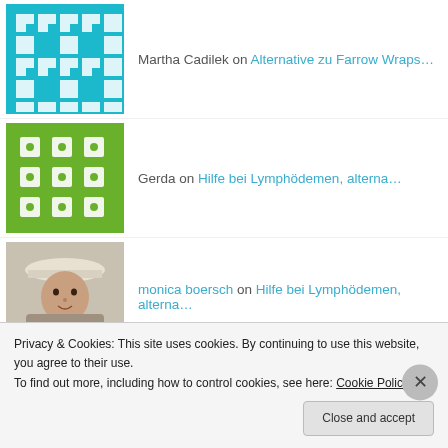[Figure (screenshot): Website comment section showing user avatars and comment links. Cookie consent banner overlaid at bottom.]
Martha Cadilek on Alternative zu Farrow Wraps…
Gerda on Hilfe bei Lymphödemen, alterna…
monica boersch on Hilfe bei Lymphödemen, alterna…
Gerda on Hilfe bei Lymphödemen, alterna…
monica boersch on Nahrungsergänzung oder Vitamin…
Privacy & Cookies: This site uses cookies. By continuing to use this website, you agree to their use.
To find out more, including how to control cookies, see here: Cookie Policy
Close and accept